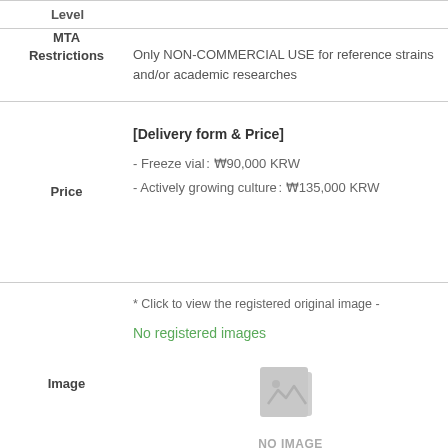| Field | Value |
| --- | --- |
| Level |  |
| MTA Restrictions | Only NON-COMMERCIAL USE for reference strains and/or academic researches |
| Price | [Delivery form & Price]
- Freeze vial : ₩90,000 KRW
- Actively growing culture : ₩135,000 KRW |
| Image | * Click to view the registered original image -
No registered images
NO IMAGE FOUND |